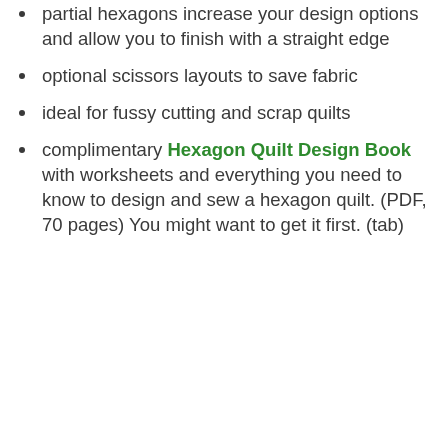partial hexagons increase your design options and allow you to finish with a straight edge
optional scissors layouts to save fabric
ideal for fussy cutting and scrap quilts
complimentary Hexagon Quilt Design Book with worksheets and everything you need to know to design and sew a hexagon quilt. (PDF, 70 pages) You might want to get it first. (tab)